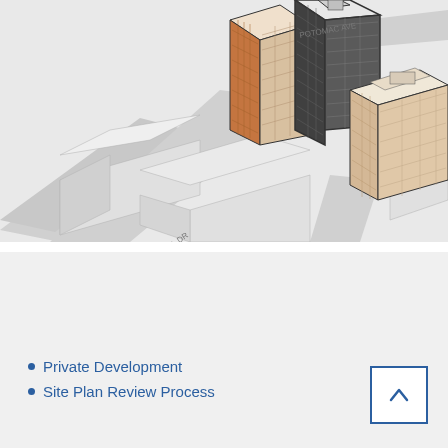[Figure (illustration): Isometric architectural rendering showing a city block development with multiple high-rise and mid-rise buildings in orange/brown and gray tones. Street labels visible include POTOMAC AVE, CRYSTAL DR, RICHMOND HWY, and 23RD ST.]
QUICK LINKS
Private Development
Site Plan Review Process